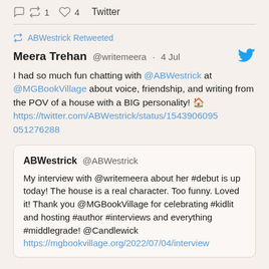comment  retweet 1  heart 4  Twitter
ABWestrick Retweeted
Meera Trehan  @writemeera  ·  4 Jul
I had so much fun chatting with @ABWestrick at @MGBookVillage about voice, friendship, and writing from the POV of a house with a BIG personality! 🏠 https://twitter.com/ABWestrick/status/1543906095051276288
ABWestrick @ABWestrick
My interview with @writemeera about her #debut is up today! The house is a real character. Too funny. Loved it! Thank you @MGBookVillage for celebrating #kidlit and hosting #author #interviews and everything #middlegrade! @Candlewick https://mgbookvillage.org/2022/07/04/interview